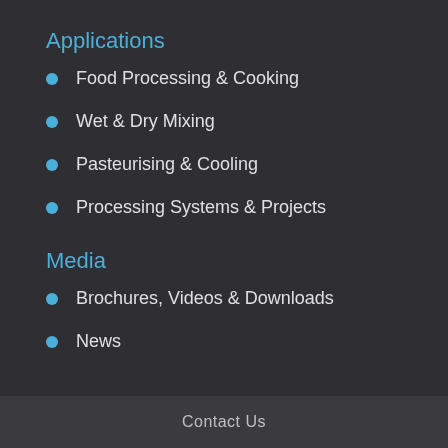Applications
Food Processing & Cooking
Wet & Dry Mixing
Pasteurising & Cooling
Processing Systems & Projects
Media
Brochures, Videos & Downloads
News
Contact Us